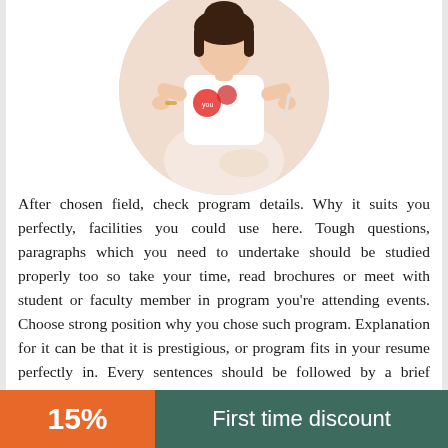[Figure (photo): Circular cropped photo of a student (appears to be a young woman) sitting cross-legged, wearing a graphic t-shirt, on a white background]
After chosen field, check program details. Why it suits you perfectly, facilities you could use here. Tough questions, paragraphs which you need to undertake should be studied properly too so take your time, read brochures or meet with student or faculty member in program you're attending events. Choose strong position why you chose such program. Explanation for it can be that it is prestigious, or program fits in your resume perfectly in. Every sentences should be followed by a brief argument. Be honest with thoughts, because experienced readers notice lies at once. Moreover, clear position lets you easier explain why you chose such program and which skills you got for it. Remember that a question can be broad but the answer must be precise.
15%
First time discount